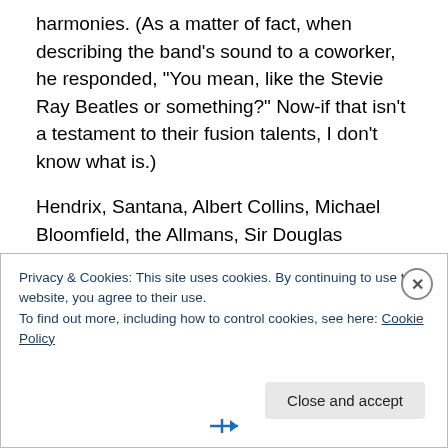harmonies. (As a matter of fact, when describing the band's sound to a coworker, he responded, “You mean, like the Stevie Ray Beatles or something?” Now-if that isn’t a testament to their fusion talents, I don’t know what is.)
Hendrix, Santana, Albert Collins, Michael Bloomfield, the Allmans, Sir Douglas Quintet, Stevie Ray Vaughn…the names kept repeating in my head throughout the show. Still, I found none of the performance lacking in originality, none of the improvisational sections and guitar or bass solos growing tedious. Even their astounding cover of
Privacy & Cookies: This site uses cookies. By continuing to use this website, you agree to their use.
To find out more, including how to control cookies, see here: Cookie Policy